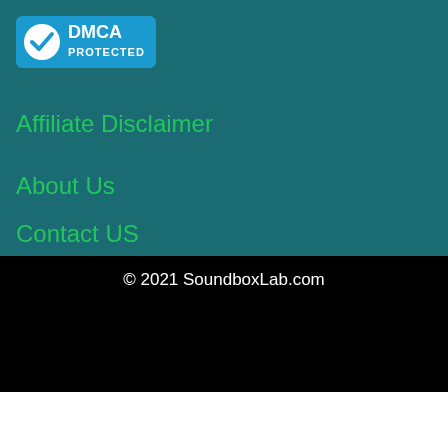[Figure (logo): DMCA Protected badge with blue background, white checkmark circle, and DMCA PROTECTED text]
Affiliate Disclaimer
About Us
Contact US
© 2021 SoundboxLab.com